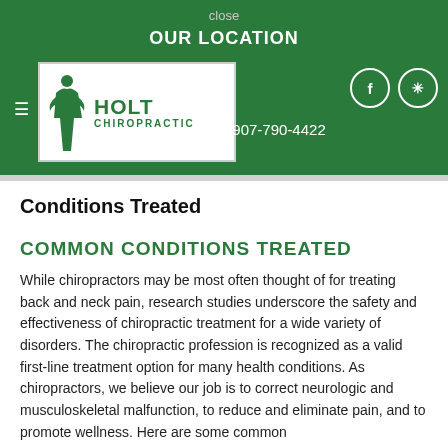close
OUR LOCATION
[Figure (logo): Holt Chiropractic logo with figure silhouette, green text reading HOLT CHIROPRACTIC]
907-790-4422
Conditions Treated
COMMON CONDITIONS TREATED
While chiropractors may be most often thought of for treating back and neck pain, research studies underscore the safety and effectiveness of chiropractic treatment for a wide variety of disorders. The chiropractic profession is recognized as a valid first-line treatment option for many health conditions. As chiropractors, we believe our job is to correct neurologic and musculoskeletal malfunction, to reduce and eliminate pain, and to promote wellness. Here are some common